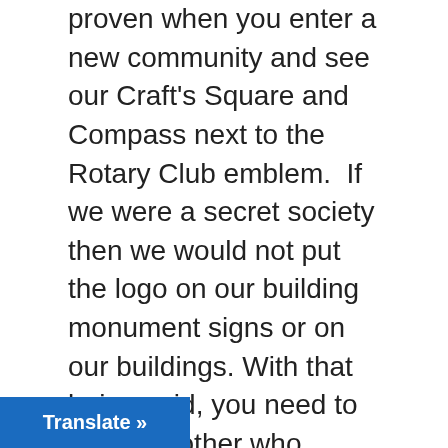proven when you enter a new community and see our Craft's Square and Compass next to the Rotary Club emblem.  If we were a secret society then we would not put the logo on our building monument signs or on our buildings. With that being said, you need to be the brother who changes this warped perspective.
If you find your Craft refuses to want to grow, it is probably because there are some brothers who are holding you back.  These brothers maybe rude to other brothers, they may be the ones that never pay for attending an event that requests money for attending. It could that you have a brother who is an embarrassment at community functions. First, talk to them directly, one on one and then with other brothers if [address the problem – don't kick the
Translate »